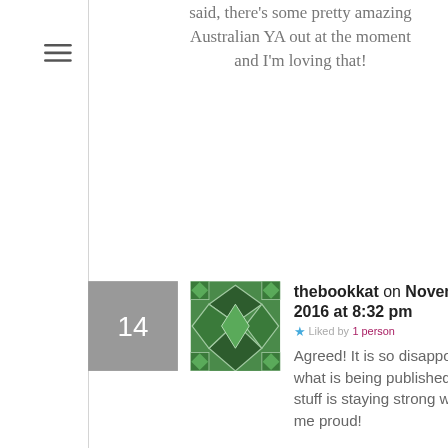said, there's some pretty amazing Australian YA out at the moment and I'm loving that!
thebookkat on November 10, 2016 at 8:32 pm · Liked by 1 person
Agreed! It is so disappointing to see what is being published! The Aus stuff is staying strong which makes me proud!
Review: Graffiti Moon by Cath Crowley on June 8, 2017 at 10:43 am Reply Like
[...] quite got there. Then, late last year, I received a review copy of